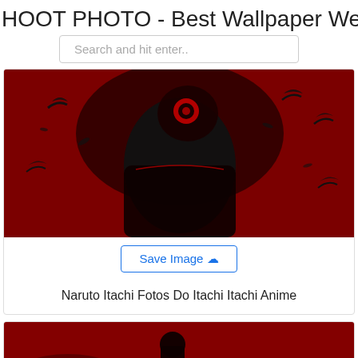HOOT PHOTO - Best Wallpaper Web
Search and hit enter..
[Figure (illustration): Anime illustration of Itachi with dark cloak and crow motifs on a red background]
Save Image ☁
Naruto Itachi Fotos Do Itachi Itachi Anime
[Figure (illustration): Anime illustration of a dark silhouetted figure against a red atmospheric background]